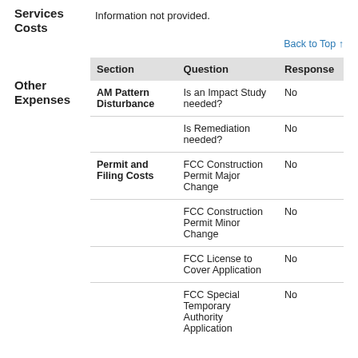Services Costs
Information not provided.
Back to Top ↑
Other Expenses
| Section | Question | Response |
| --- | --- | --- |
| AM Pattern Disturbance | Is an Impact Study needed? | No |
|  | Is Remediation needed? | No |
| Permit and Filing Costs | FCC Construction Permit Major Change | No |
|  | FCC Construction Permit Minor Change | No |
|  | FCC License to Cover Application | No |
|  | FCC Special Temporary Authority Application | No |